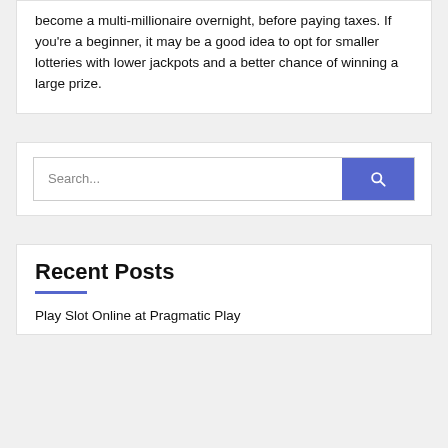become a multi-millionaire overnight, before paying taxes. If you're a beginner, it may be a good idea to opt for smaller lotteries with lower jackpots and a better chance of winning a large prize.
[Figure (screenshot): Search bar widget with text input placeholder 'Search...' and a blue search button with magnifying glass icon]
Recent Posts
Play Slot Online at Pragmatic Play